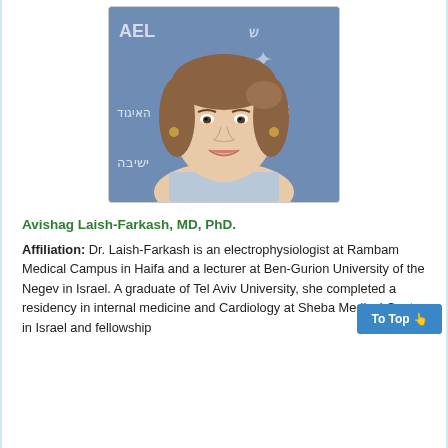[Figure (photo): Headshot photo of Avishag Laish-Farkash, a woman with light brown hair, smiling, in front of a blue institutional banner with Hebrew and English text including 'HEART S' and 'האיגוד'. She is wearing a light blue collared shirt.]
Avishag Laish-Farkash, MD, PhD.
Affiliation: Dr. Laish-Farkash is an electrophysiologist at Rambam Medical Campus in Haifa and a lecturer at Ben-Gurion University of the Negev in Israel. A graduate of Tel Aviv University, she completed a residency in internal medicine and Cardiology at Sheba Medical Center in Israel and fellowship